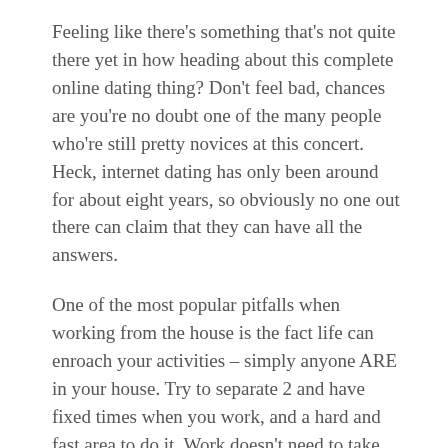Feeling like there's something that's not quite there yet in how heading about this complete online dating thing? Don't feel bad, chances are you're no doubt one of the many people who're still pretty novices at this concert. Heck, internet dating has only been around for about eight years, so obviously no one out there can claim that they can have all the answers.
One of the most popular pitfalls when working from the house is the fact life can enroach your activities – simply anyone ARE in your house. Try to separate 2 and have fixed times when you work, and a hard and fast area to do it. Work doesn't need to take over your life, but neither a person let life interfere of your work.
When considering in your activities which is your life...